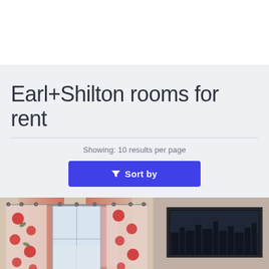Earl+Shilton rooms for rent
Showing: 10 results per page
Sort by
[Figure (photo): Interior room photo showing a window with red floral curtains on a curtain rod (left half) and a framed cityscape artwork on a beige wall (right half)]